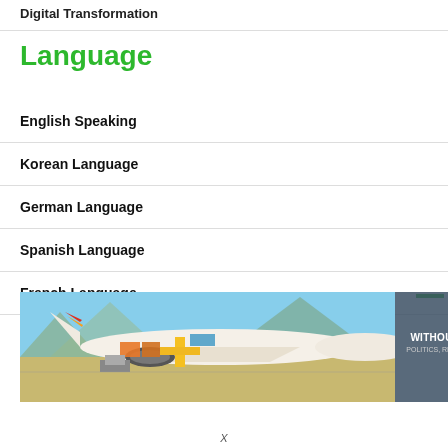Digital Transformation
Language
English Speaking
Korean Language
German Language
Spanish Language
French Language
[Figure (photo): Cargo aircraft being loaded with freight on airport tarmac, with text overlay 'WITHOUT REGARD TO POLITICS, RELIGION, OR ABILITY TO PAY']